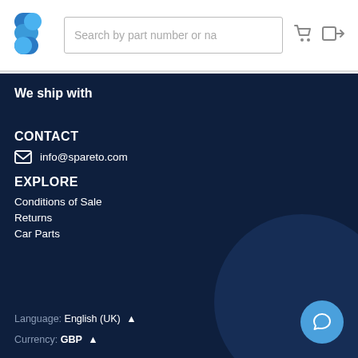Search by part number or na
We ship with
CONTACT
info@spareto.com
EXPLORE
Conditions of Sale
Returns
Car Parts
Language: English (UK)
Currency: GBP